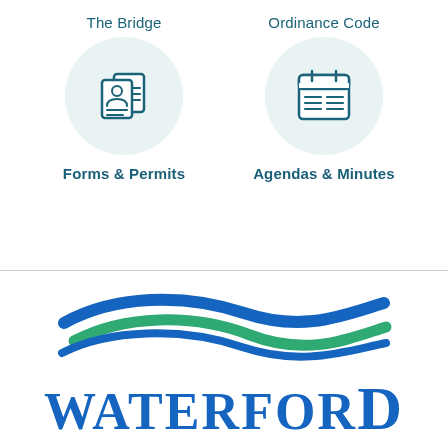The Bridge
[Figure (illustration): Icon of two overlapping documents with a person/ID card icon, inside a light teal circular background]
Forms & Permits
Ordinance Code
[Figure (illustration): Icon of a calendar with horizontal lines representing text, inside a light teal circular background]
Agendas & Minutes
[Figure (illustration): Waterford city logo with blue and green wave swooshes above the text WATERFORD in large bold serif font]